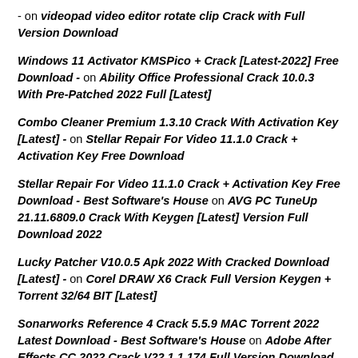- on videopad video editor rotate clip Crack with Full Version Download
Windows 11 Activator KMSPico + Crack [Latest-2022] Free Download - on Ability Office Professional Crack 10.0.3 With Pre-Patched 2022 Full [Latest]
Combo Cleaner Premium 1.3.10 Crack With Activation Key [Latest] - on Stellar Repair For Video 11.1.0 Crack + Activation Key Free Download
Stellar Repair For Video 11.1.0 Crack + Activation Key Free Download - Best Software's House on AVG PC TuneUp 21.11.6809.0 Crack With Keygen [Latest] Version Full Download 2022
Lucky Patcher V10.0.5 Apk 2022 With Cracked Download [Latest] - on Corel DRAW X6 Crack Full Version Keygen + Torrent 32/64 BIT [Latest]
Sonarworks Reference 4 Crack 5.5.9 MAC Torrent 2022 Latest Download - Best Software's House on Adobe After Effects CC 2022 Crack V22.1.1.174 Full Version Download